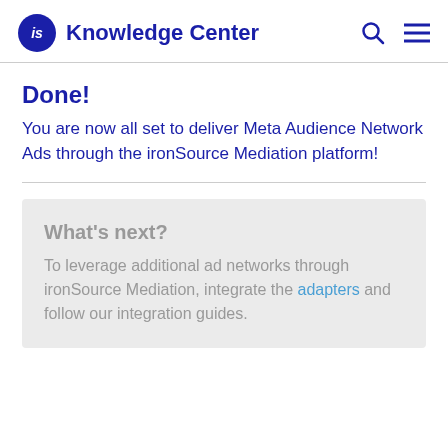iS Knowledge Center
Done!
You are now all set to deliver Meta Audience Network Ads through the ironSource Mediation platform!
What's next?
To leverage additional ad networks through ironSource Mediation, integrate the adapters and follow our integration guides.